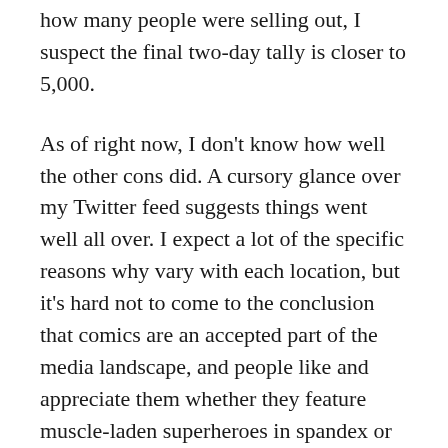how many people were selling out, I suspect the final two-day tally is closer to 5,000.
As of right now, I don't know how well the other cons did. A cursory glance over my Twitter feed suggests things went well all over. I expect a lot of the specific reasons why vary with each location, but it's hard not to come to the conclusion that comics are an accepted part of the media landscape, and people like and appreciate them whether they feature muscle-laden superheroes in spandex or screen-printed, intensely personal autobiographies with covers hand-cut with an X-acto knife. For as much as the larger cons seem to be driven by Hollywood movies and Silicon Valley games, there seems to be an